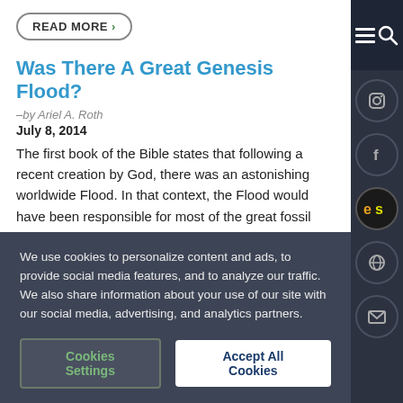READ MORE >
Was There A Great Genesis Flood?
–by Ariel A. Roth
July 8, 2014
The first book of the Bible states that following a recent creation by God, there was an astonishing worldwide Flood. In that context, the Flood would have been responsible for most of the great fossil bearing layers of the earth. However, current scientific interpretations propose that these layers slowly accumulated over billions of years thus allocating more time for the slow gradual evolution of...
We use cookies to personalize content and ads, to provide social media features, and to analyze our traffic. We also share information about your use of our site with our social media, advertising, and analytics partners.
Cookies Settings
Accept All Cookies